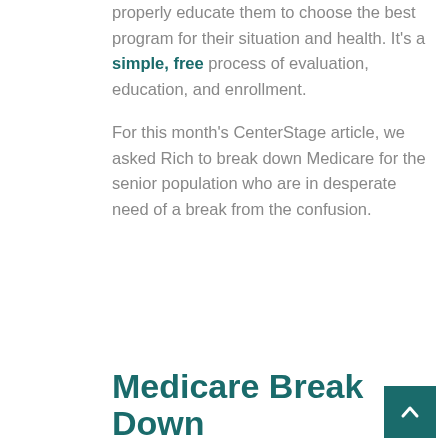properly educate them to choose the best program for their situation and health. It's a simple, free process of evaluation, education, and enrollment.
For this month's CenterStage article, we asked Rich to break down Medicare for the senior population who are in desperate need of a break from the confusion.
Medicare Break Down